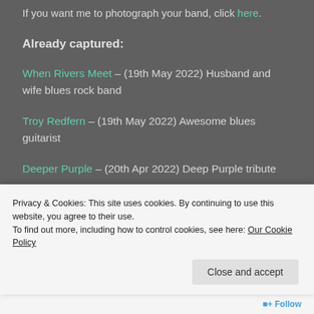If you want me to photograph your band, click here.
Already captured:
When Rivers Meet – (19th May 2022) Husband and wife blues rock band
Troy Redfern – (19th May 2022) Awesome blues guitarist
Deeper Purple – (20th Apr 2022) Deep Purple tribute
Privacy & Cookies: This site uses cookies. By continuing to use this website, you agree to their use. To find out more, including how to control cookies, see here: Our Cookie Policy
Close and accept